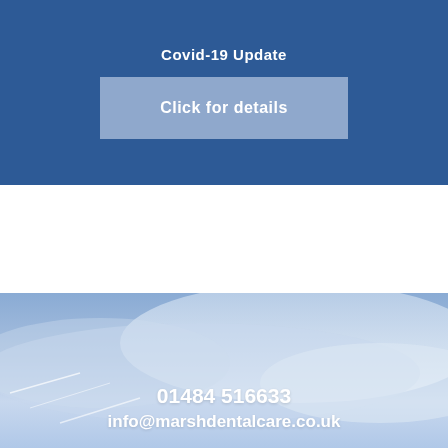Covid-19 Update
Click for details
[Figure (photo): Sky background image with soft blue tones and wispy clouds, used as background for dental practice contact information]
01484 516633
info@marshdentalcare.co.uk